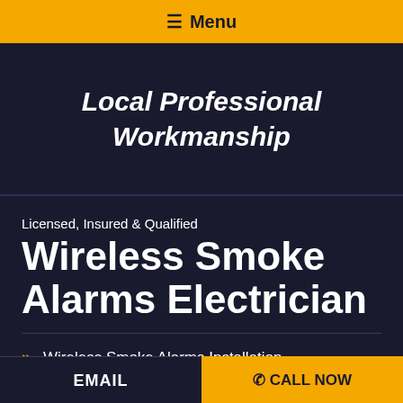☰ Menu
Local Professional Workmanship
Licensed, Insured & Qualified
Wireless Smoke Alarms Electrician
Wireless Smoke Alarms Installation
Choosing The Best Fit Wireless
EMAIL  ✆ CALL NOW